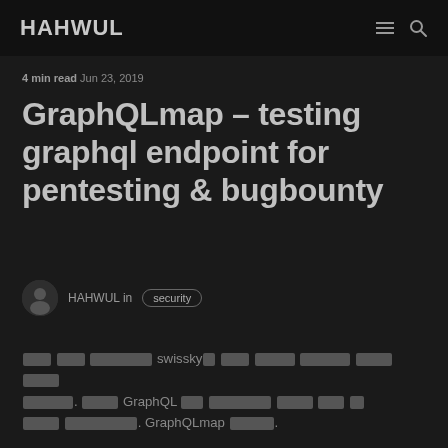HAHWUL
4 min read Jun 23, 2019
GraphQLmap – testing graphql endpoint for pentesting & bugbounty
HAHWUL in security
[Korean text] swissky의 [Korean text]. [Korean text] GraphQL [Korean text]. GraphQLmap [Korean text].